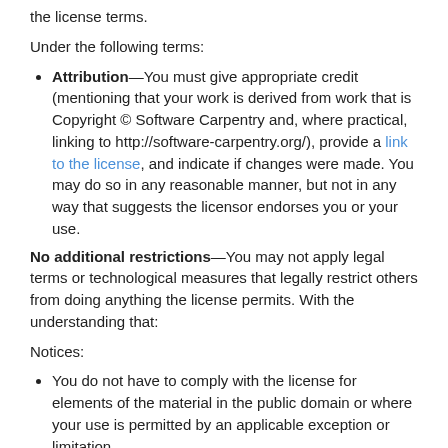the license terms.
Under the following terms:
Attribution—You must give appropriate credit (mentioning that your work is derived from work that is Copyright © Software Carpentry and, where practical, linking to http://software-carpentry.org/), provide a link to the license, and indicate if changes were made. You may do so in any reasonable manner, but not in any way that suggests the licensor endorses you or your use.
No additional restrictions—You may not apply legal terms or technological measures that legally restrict others from doing anything the license permits. With the understanding that:
Notices:
You do not have to comply with the license for elements of the material in the public domain or where your use is permitted by an applicable exception or limitation.
No warranties are given. The license may not give you all of the permissions necessary for your intended use. For example, other rights such as publicity, privacy, or moral rights may limit how you use the material.